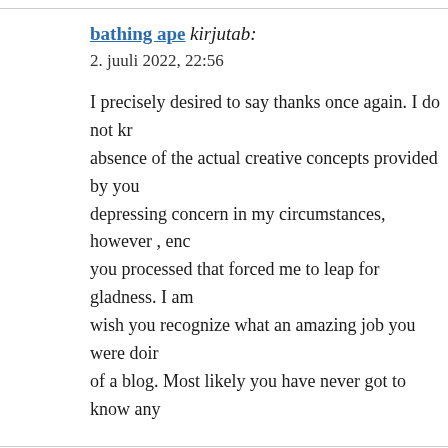bathing ape kirjutab:
2. juuli 2022, 22:56

I precisely desired to say thanks once again. I do not kn absence of the actual creative concepts provided by you depressing concern in my circumstances, however , en you processed that forced me to leap for gladness. I am wish you recognize what an amazing job you were doir of a blog. Most likely you have never got to know any
Melanialawg kirjutab:
3. juuli 2022, 01:55

Здравствуйте господа!

Есть такой замечательный сайт https://ruposters.ru/